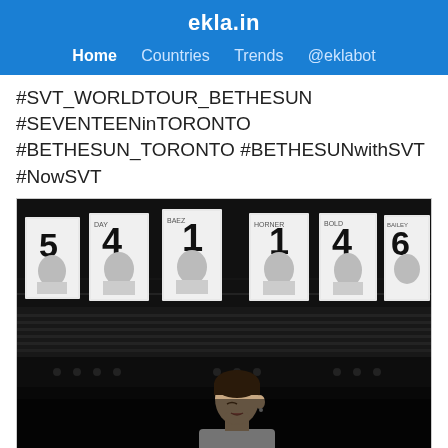ekla.in
Home  Countries  Trends  @eklabot
#SVT_WORLDTOUR_BETHESUN #SEVENTEENinTORONTO #BETHESUN_TORONTO #BETHESUNwithSVT #NowSVT
[Figure (photo): Black and white photo of a performer on stage at an arena, with retired jersey banners (numbers 5, 4, 1, 1, 4, 6, 7) hanging from the ceiling. A person with short hair wearing a white top is visible in the foreground, looking upward.]